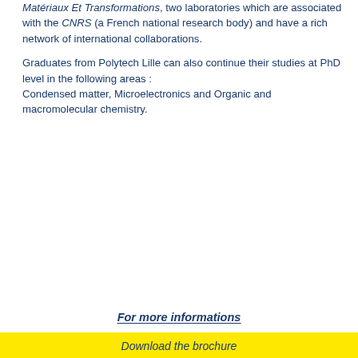Matériaux Et Transformations, two laboratories which are associated with the CNRS (a French national research body) and have a rich network of international collaborations.
Graduates from Polytech Lille can also continue their studies at PhD level in the following areas :
Condensed matter, Microelectronics and Organic and macromolecular chemistry.
For more informations
Download the brochure
Play movie clip
Follow us
Play movie clip
Read more...